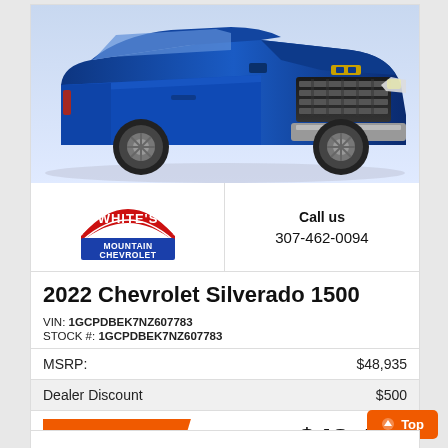[Figure (photo): Blue 2022 Chevrolet Silverado 1500 pickup truck front 3/4 view on white background]
[Figure (logo): White's Mountain Chevrolet logo — red arched text 'WHITE'S' above blue box with white text 'MOUNTAIN CHEVROLET']
Call us
307-462-0094
2022 Chevrolet Silverado 1500
VIN: 1GCPDBEK7NZ607783
STOCK #: 1GCPDBEK7NZ607783
| Label | Amount |
| --- | --- |
| MSRP: | $48,935 |
| Dealer Discount | $500 |
CLICK HERE
$48,435